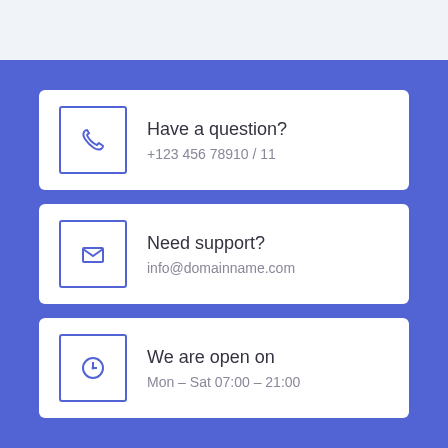Have a question? +123 456 78910 / 11
Need support? info@domainname.com
We are open on Mon – Sat 07:00 – 21:00